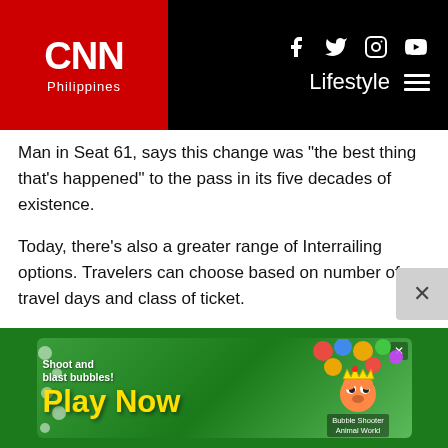CNN Philippines — Lifestyle
Man in Seat 61, says this change was "the best thing that's happened" to the pass in its five decades of existence.
Today, there's also a greater range of Interrailing options. Travelers can choose based on number of travel days and class of ticket.
Europe's railways have changed too. High speed services are now more commonplace and, until recently, night trains were on the out but the tide there appears to be turning again thanks to a recent resurgence of sleeper services across Europe. Smith also suggests the continent's trains are now more fragmented, with some long distance routes now broken up into smaller sections.
[Figure (screenshot): Mobile game advertisement banner — Bubble Shooter Animal World — showing colorful bubbles and cartoon animals with 'Shoot and blast bubbles! Play Now' text]